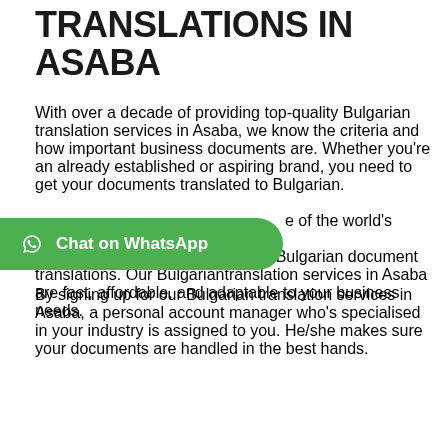TRANSLATIONS IN ASABA
With over a decade of providing top-quality Bulgarian translation services in Asaba, we know the criteria and how important business documents are. Whether you're an already established or aspiring brand, you need to get your documents translated to Bulgarian. [partially obscured] of the world's biggest [partially obscured] quality Bulgarian document translations. Our Bulgariantranslation services in Asaba are fast, affordable, and adaptable to your business needs.
[Figure (other): Green WhatsApp chat button with WhatsApp logo icon and text 'Chat on WhatsApp']
By signing up for our Bulgarian translation services in Asaba, a personal account manager who's specialised in your industry is assigned to you. He/she makes sure your documents are handled in the best hands.